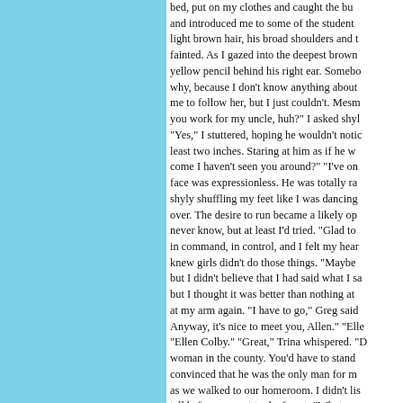bed, put on my clothes and caught the bu and introduced me to some of the student light brown hair, his broad shoulders and t fainted. As I gazed into the deepest brown yellow pencil behind his right ear. Somebo why, because I don't know anything about me to follow her, but I just couldn't. Mesm you work for my uncle, huh?" I asked shyl "Yes," I stuttered, hoping he wouldn't notic least two inches. Staring at him as if he w come I haven't seen you around?" "I've on face was expressionless. He was totally ra shyly shuffling my feet like I was dancing over. The desire to run became a likely op never know, but at least I'd tried. "Glad to in command, in control, and I felt my hear knew girls didn't do those things. "Maybe but I didn't believe that I had said what I sa but I thought it was better than nothing at at my arm again. "I have to go," Greg said Anyway, it's nice to meet you, Allen." "Elle "Ellen Colby." "Great," Trina whispered. "D woman in the county. You'd have to stand convinced that he was the only man for m as we walked to our homeroom. I didn't lis tall before you get to the forest. "What ma what I saw in him, and what everyone else and he drives a new, forest green Corvette